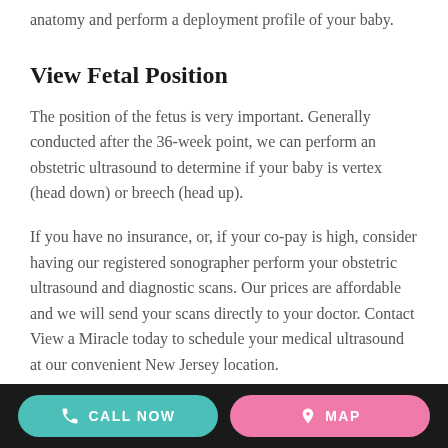anatomy and perform a deployment profile of your baby.
View Fetal Position
The position of the fetus is very important. Generally conducted after the 36-week point, we can perform an obstetric ultrasound to determine if your baby is vertex (head down) or breech (head up).
If you have no insurance, or, if your co-pay is high, consider having our registered sonographer perform your obstetric ultrasound and diagnostic scans. Our prices are affordable and we will send your scans directly to your doctor. Contact View a Miracle today to schedule your medical ultrasound at our convenient New Jersey location.
CALL NOW   MAP